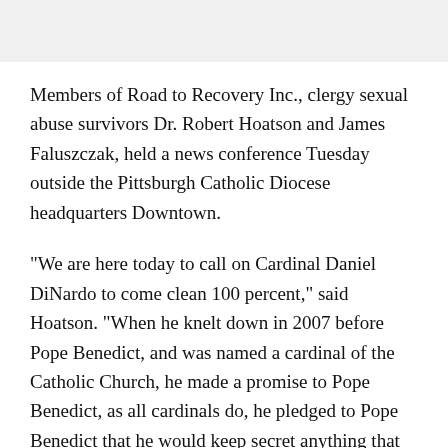Members of Road to Recovery Inc., clergy sexual abuse survivors Dr. Robert Hoatson and James Faluszczak, held a news conference Tuesday outside the Pittsburgh Catholic Diocese headquarters Downtown.
"We are here today to call on Cardinal Daniel DiNardo to come clean 100 percent," said Hoatson. "When he knelt down in 2007 before Pope Benedict, and was named a cardinal of the Catholic Church, he made a promise to Pope Benedict, as all cardinals do, he pledged to Pope Benedict that he would keep secret anything that would cause scandal or embarrassment to his church. We are here today to